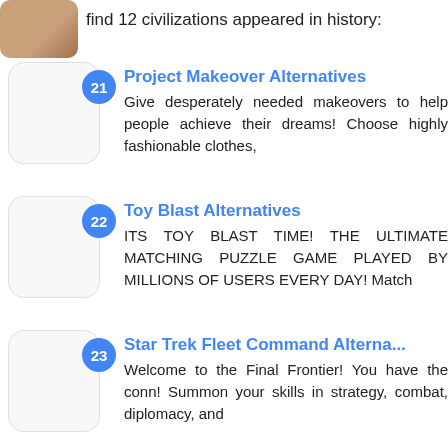find 12 civilizations appeared in history:
21 Project Makeover Alternatives
Give desperately needed makeovers to help people achieve their dreams! Choose highly fashionable clothes,
22 Toy Blast Alternatives
ITS TOY BLAST TIME! THE ULTIMATE MATCHING PUZZLE GAME PLAYED BY MILLIONS OF USERS EVERY DAY! Match
23 Star Trek Fleet Command Alterna...
Welcome to the Final Frontier! You have the conn! Summon your skills in strategy, combat, diplomacy, and